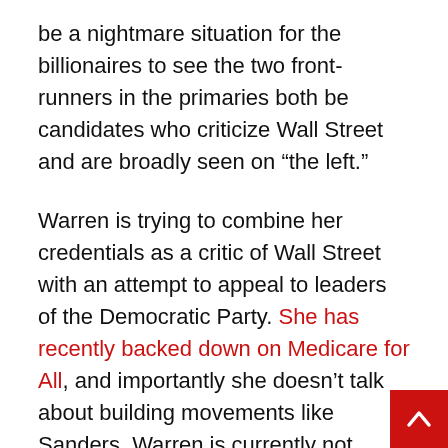be a nightmare situation for the billionaires to see the two front-runners in the primaries both be candidates who criticize Wall Street and are broadly seen on “the left.”
Warren is trying to combine her credentials as a critic of Wall Street with an attempt to appeal to leaders of the Democratic Party. She has recently backed down on Medicare for All, and importantly she doesn’t talk about building movements like Sanders. Warren is currently not taking money from corporate donors, but has indicated she would be willing to get funding from the billionaire class in a general election. Sanders supporters need to patiently explain to these voters looking to